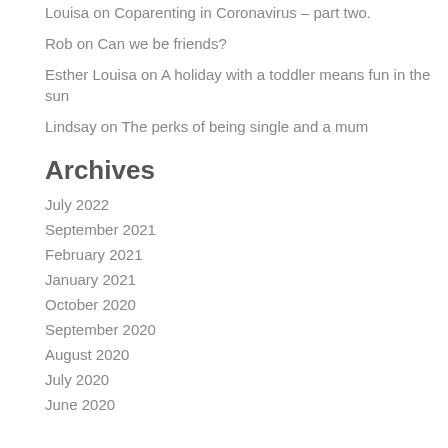Louisa on Coparenting in Coronavirus – part two.
Rob on Can we be friends?
Esther Louisa on A holiday with a toddler means fun in the sun
Lindsay on The perks of being single and a mum
Archives
July 2022
September 2021
February 2021
January 2021
October 2020
September 2020
August 2020
July 2020
June 2020